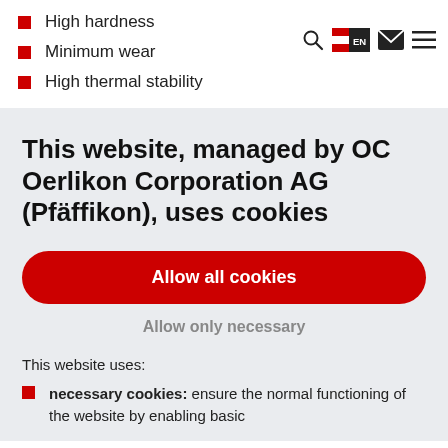High hardness
Minimum wear
High thermal stability
[Figure (screenshot): Navigation bar icons: search magnifying glass, Austrian flag with EN label, envelope/mail icon, hamburger menu icon]
This website, managed by OC Oerlikon Corporation AG (Pfäffikon), uses cookies
Allow all cookies
Allow only necessary
This website uses:
necessary cookies: ensure the normal functioning of the website by enabling basic